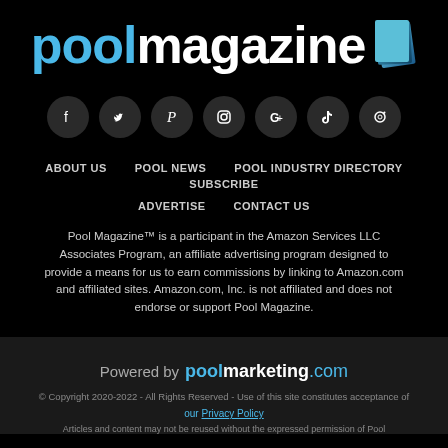[Figure (logo): Pool Magazine logo with 'pool' in blue and 'magazine' in white, with a stacked pages icon on the right]
[Figure (infographic): Row of 7 social media icon buttons (Facebook, Twitter, Pinterest, Instagram, Google, TikTok, and another) in dark circular buttons]
ABOUT US   POOL NEWS   POOL INDUSTRY DIRECTORY   SUBSCRIBE
ADVERTISE   CONTACT US
Pool Magazine™ is a participant in the Amazon Services LLC Associates Program, an affiliate advertising program designed to provide a means for us to earn commissions by linking to Amazon.com and affiliated sites. Amazon.com, Inc. is not affiliated and does not endorse or support Pool Magazine.
Powered by poolmarketing.com
© Copyright 2020-2022 - All Rights Reserved - Use of this site constitutes acceptance of
our Privacy Policy
Articles and content may not be reused without the expressed permission of Pool